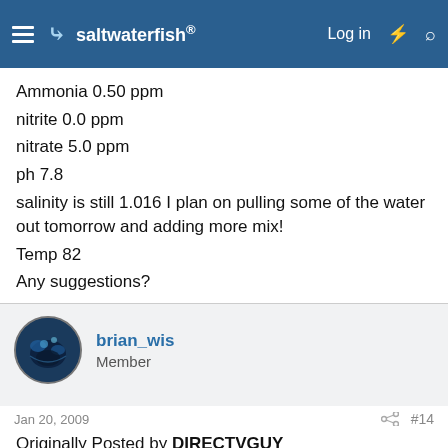saltwaterfish — Log in
Ammonia 0.50 ppm
nitrite 0.0 ppm
nitrate 5.0 ppm
ph 7.8
salinity is still 1.016 I plan on pulling some of the water out tomorrow and adding more mix!
Temp 82
Any suggestions?
brian_wis
Member
Jan 20, 2009  #14
Originally Posted by DIRECTVGUY
http:///forum/post/2919384
I came home from work and checked things out tonight. My live rock appears to have some purple mushroom looking things growing and some light green stuff that looks like an orange